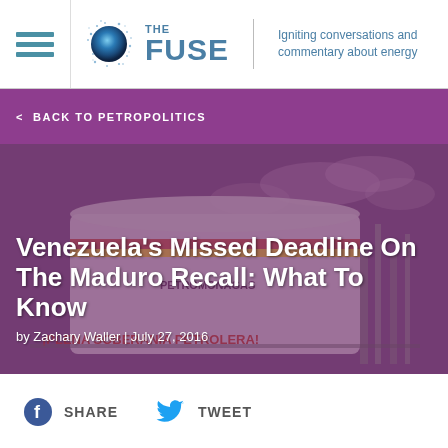THE FUSE | Igniting conversations and commentary about energy
< BACK TO PETROPOLITICS
[Figure (photo): Photograph of a large industrial petroleum storage tank with 'PETROMONAGAS' logo and 'PLENA SOBERANÍA PETROLERA!' text painted on it, with oil refinery infrastructure in background, overlaid with purple tint.]
Venezuela's Missed Deadline On The Maduro Recall: What To Know
by Zachary Waller | July 27, 2016
SHARE   TWEET